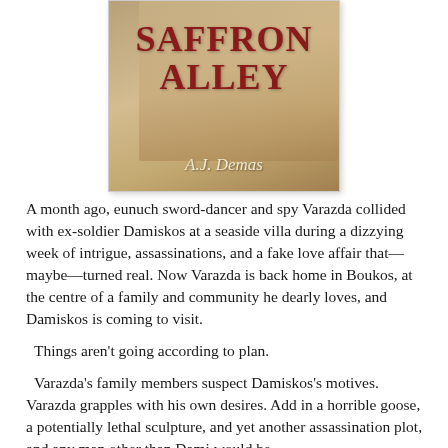[Figure (illustration): Book cover for 'Saffron Alley' by A.J. Demas. Title text in large dark red letters, author name in cursive at bottom, warm sepia-toned background with a figure.]
A month ago, eunuch sword-dancer and spy Varazda collided with ex-soldier Damiskos at a seaside villa during a dizzying week of intrigue, assassinations, and a fake love affair that—maybe—turned real. Now Varazda is back home in Boukos, at the centre of a family and community he dearly loves, and Damiskos is coming to visit.
Things aren't going according to plan.
Varazda's family members suspect Damiskos's motives. Varazda grapples with his own desires. Add in a horrible goose, a potentially lethal sculpture, and yet another assassination plot, and any man other than Dami would be